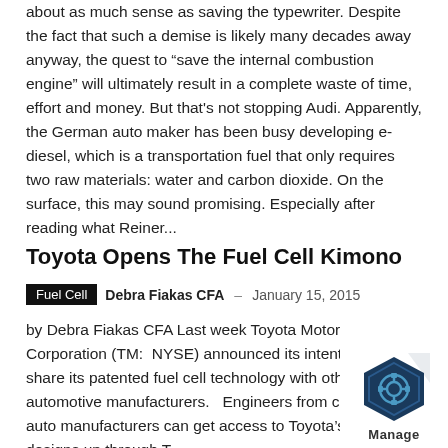about as much sense as saving the typewriter. Despite the fact that such a demise is likely many decades away anyway, the quest to “save the internal combustion engine” will ultimately result in a complete waste of time, effort and money. But that's not stopping Audi. Apparently, the German auto maker has been busy developing e-diesel, which is a transportation fuel that only requires two raw materials: water and carbon dioxide. On the surface, this may sound promising. Especially after reading what Reiner...
Toyota Opens The Fuel Cell Kimono
Fuel Cell  Debra Fiakas CFA – January 15, 2015
by Debra Fiakas CFA Last week Toyota Motor Corporation (TM: NYSE) announced its intention to share its patented fuel cell technology with other automotive manufacturers.   Engineers from competing auto manufacturers can get access to Toyota’s fuel cell designs up through T...
[Figure (logo): Manage logo with hexagonal icon in dark blue/teal]